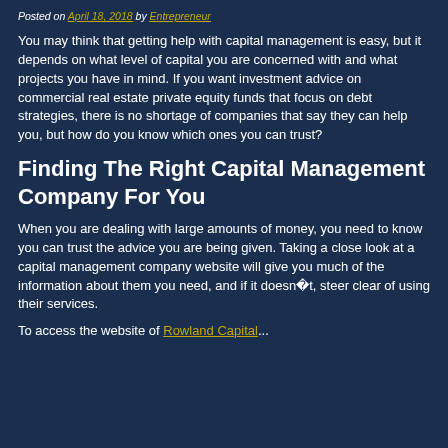Posted on April 18, 2018 by Entrepreneur
You may think that getting help with capital management is easy, but it depends on what level of capital you are concerned with and what projects you have in mind. If you want investment advice on commercial real estate private equity funds that focus on debt strategies, there is no shortage of companies that say they can help you, but how do you know which ones you can trust?
Finding The Right Capital Management Company For You
When you are dealing with large amounts of money, you need to know you can trust the advice you are being given. Taking a close look at a capital management company website will give you much of the information about them you need, and if it doesn t, steer clear of using their services.
To access the website of Rowland Capital...